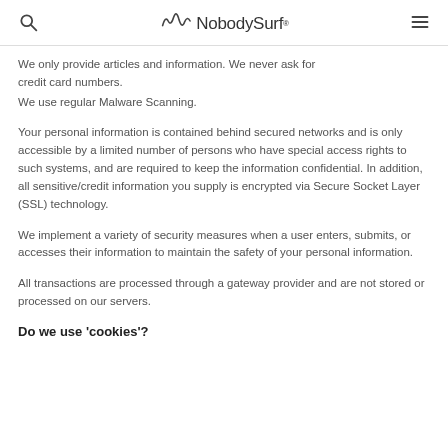NobodySurf®
We only provide articles and information. We never ask for credit card numbers.
We use regular Malware Scanning.
Your personal information is contained behind secured networks and is only accessible by a limited number of persons who have special access rights to such systems, and are required to keep the information confidential. In addition, all sensitive/credit information you supply is encrypted via Secure Socket Layer (SSL) technology.
We implement a variety of security measures when a user enters, submits, or accesses their information to maintain the safety of your personal information.
All transactions are processed through a gateway provider and are not stored or processed on our servers.
Do we use 'cookies'?